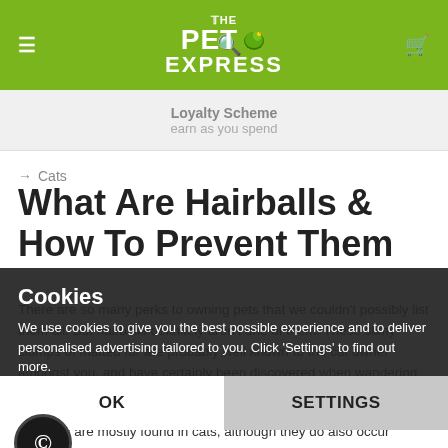The Pet Express — Loyalty Scheme, earn as you spend
→ Cats
What Are Hairballs & How To Prevent Them
There are so many perks to owning pets that we couldn't possibly list them all. But hairballs definitely aren't one of them. These slimy clumps of matted fur are probably well known to the cat owner amongst you, and have certainly been discovered when wandering around the house in your bare feet. Hairballs are generally harmless, but in certain animals can be fatal and should be treated with caution and care.
Cookies
We use cookies to give you the best possible experience and to deliver personalised advertising tailored to you. Click 'Settings' to find out more.
OK
SETTINGS
Hairballs are mostly found in cats, although they do also occur